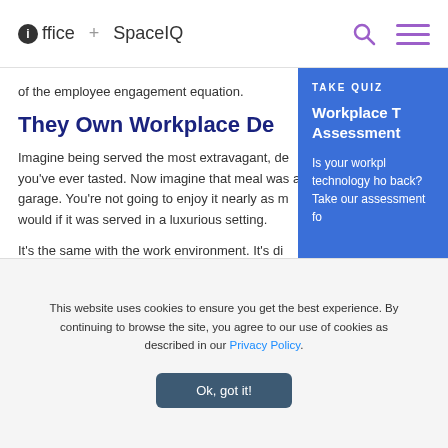ioffice + SpaceIQ
of the employee engagement equation.
They Own Workplace De
Imagine being served the most extravagant, de you've ever tasted. Now imagine that meal was a garage. You're not going to enjoy it nearly as m would if it was served in a luxurious setting.
It's the same with the work environment. It's di
TAKE QUIZ
Workplace T Assessment
Is your workpl technology ho back? Take our assessment fo
This website uses cookies to ensure you get the best experience. By continuing to browse the site, you agree to our use of cookies as described in our Privacy Policy.
Ok, got it!